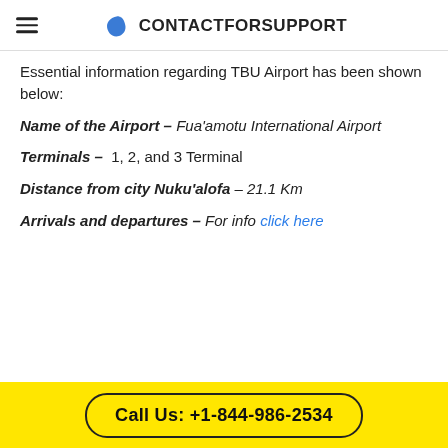CONTACTFORSUPPORT
Essential information regarding TBU Airport has been shown below:
Name of the Airport – Fua'amotu International Airport
Terminals – 1, 2, and 3 Terminal
Distance from city Nuku'alofa – 21.1 Km
Arrivals and departures – For info click here
Call Us: +1-844-986-2534